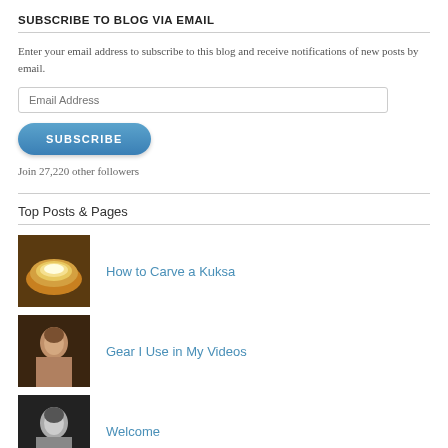SUBSCRIBE TO BLOG VIA EMAIL
Enter your email address to subscribe to this blog and receive notifications of new posts by email.
Top Posts & Pages
How to Carve a Kuksa
Gear I Use in My Videos
Welcome
Living in the Past